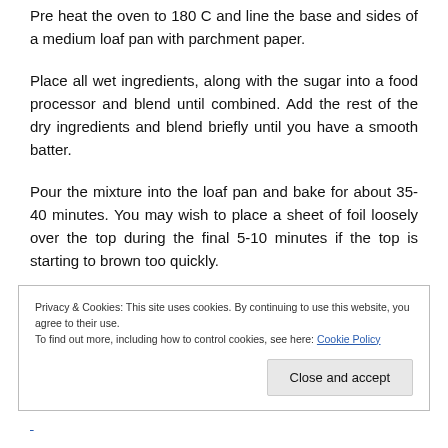Pre heat the oven to 180 C and line the base and sides of a medium loaf pan with parchment paper.
Place all wet ingredients, along with the sugar into a food processor and blend until combined. Add the rest of the dry ingredients and blend briefly until you have a smooth batter.
Pour the mixture into the loaf pan and bake for about 35-40 minutes. You may wish to place a sheet of foil loosely over the top during the final 5-10 minutes if the top is starting to brown too quickly.
Privacy & Cookies: This site uses cookies. By continuing to use this website, you agree to their use.
To find out more, including how to control cookies, see here: Cookie Policy
Close and accept